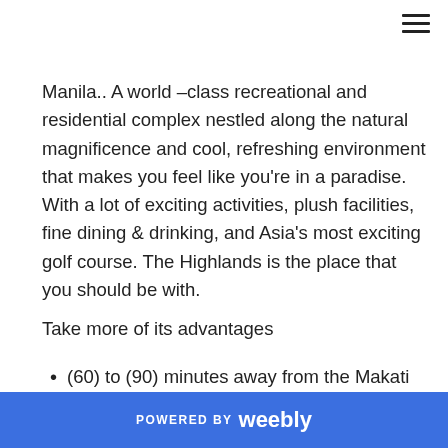☰
Manila.. A world –class recreational and residential complex nestled along the natural magnificence and cool, refreshing environment that makes you feel like you're in a paradise. With a lot of exciting activities, plush facilities, fine dining & drinking, and Asia's most exciting golf course. The Highlands is the place that you should be with.
Take more of its advantages
(60) to (90) minutes away from the Makati and Ortigas Business Districts
POWERED BY weebly